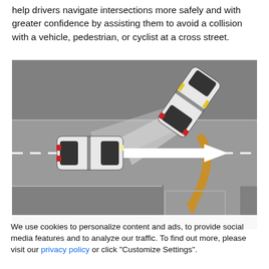help drivers navigate intersections more safely and with greater confidence by assisting them to avoid a collision with a vehicle, pedestrian, or cyclist at a cross street.
[Figure (illustration): Top-down view of an intersection showing two white cars. The car on the right is turning, with headlight beam triangles radiating forward-left. A golden/amber curved arrow shows the turning path of the right car, and a white horizontal arrow points right indicating the path of the left car approaching the intersection.]
We use cookies to personalize content and ads, to provide social media features and to analyze our traffic. To find out more, please visit our privacy policy or click "Customize Settings".